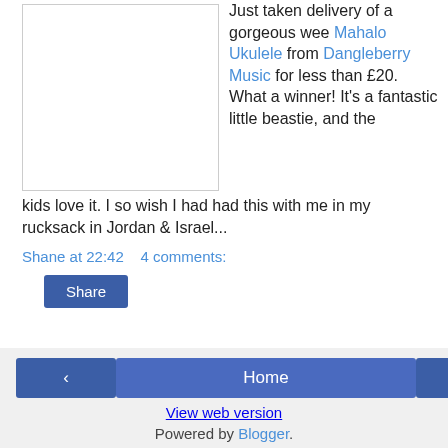[Figure (photo): White/blank image placeholder box with border]
Just taken delivery of a gorgeous wee Mahalo Ukulele from Dangleberry Music for less than £20. What a winner! It's a fantastic little beastie, and the kids love it. I so wish I had had this with me in my rucksack in Jordan & Israel...
Shane at 22:42    4 comments:
Share
‹   Home   ›   View web version   Powered by Blogger.